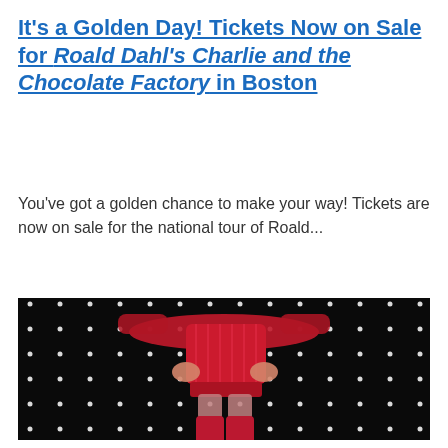It's a Golden Day! Tickets Now on Sale for Roald Dahl's Charlie and the Chocolate Factory in Boston
You've got a golden chance to make your way! Tickets are now on sale for the national tour of Roald...
[Figure (photo): A performer in a sparkly red sequined costume with thigh-high red boots, posed against a black background with white dot lighting grid.]